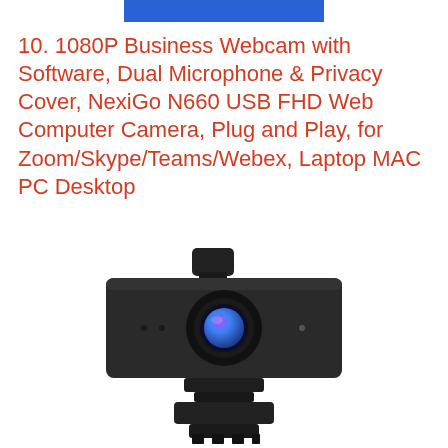[Figure (other): Blue rectangular banner/button at top center of page]
10. 1080P Business Webcam with Software, Dual Microphone & Privacy Cover, NexiGo N660 USB FHD Web Computer Camera, Plug and Play, for Zoom/Skype/Teams/Webex, Laptop MAC PC Desktop
[Figure (photo): Product photo of a NexiGo N660 1080P webcam — a black rectangular webcam with a privacy cover/flip cap on top, a large lens in the center with a blue-purple tinted lens coating, small LED indicators, and a mounting clip at the bottom.]